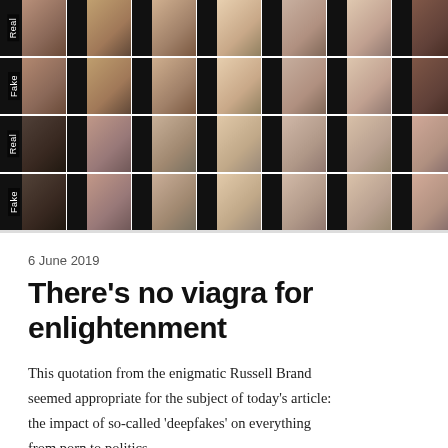[Figure (photo): A grid of face images arranged in 4 rows labeled alternately 'Real' and 'Fake' on the left side. Each row contains approximately 9 face thumbnails of news anchors/personalities. The top two rows show news broadcast faces (Real and Fake), and the bottom two rows show portrait-style faces (Real and Fake), demonstrating deepfake detection research.]
6 June 2019
There's no viagra for enlightenment
This quotation from the enigmatic Russell Brand seemed appropriate for the subject of today's article: the impact of so-called 'deepfakes' on everything from porn to politics.